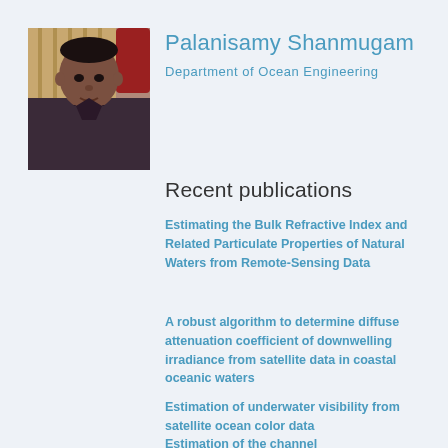[Figure (photo): Portrait photo of Palanisamy Shanmugam, a man in dark clothing seated indoors]
Palanisamy Shanmugam
Department of Ocean Engineering
Recent publications
Estimating the Bulk Refractive Index and Related Particulate Properties of Natural Waters from Remote-Sensing Data
A robust algorithm to determine diffuse attenuation coefficient of downwelling irradiance from satellite data in coastal oceanic waters
Estimation of underwater visibility from satellite ocean color data
Estimation of the channel